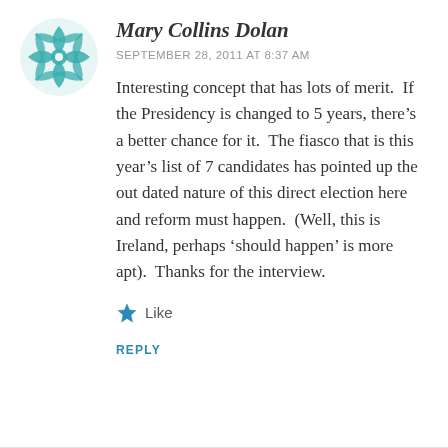Mary Collins Dolan
SEPTEMBER 28, 2011 AT 8:37 AM
Interesting concept that has lots of merit.  If the Presidency is changed to 5 years, there's a better chance for it.  The fiasco that is this year's list of 7 candidates has pointed up the out dated nature of this direct election here and reform must happen.  (Well, this is Ireland, perhaps 'should happen' is more apt).  Thanks for the interview.
Like
REPLY